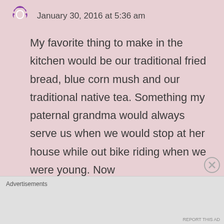[Figure (logo): Purple avatar icon in top left]
January 30, 2016 at 5:36 am
My favorite thing to make in the kitchen would be our traditional fried bread, blue corn mush and our traditional native tea. Something my paternal grandma would always serve us when we would stop at her house while out bike riding when we were young. Now
Advertisements
REPORT THIS AD